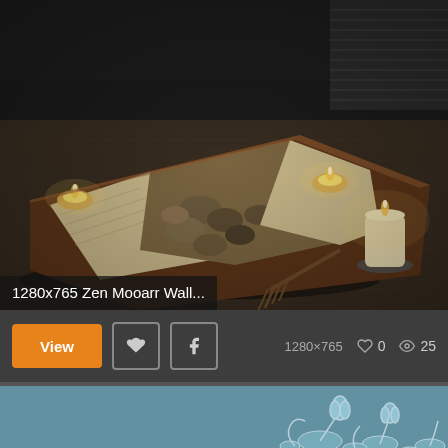[Figure (photo): Zen garden with wooden tray containing stones and tea lights, a pillar candle on a plate, and a small wooden rake on a dark textured mat]
1280x765 Zen Mooarr Wall...
View   [Pinterest]   [Facebook]   1280×765   ♡ 0   👁 25
[Figure (photo): Teal/blue background wallpaper with white line art illustration of lotus flowers and lily pads]